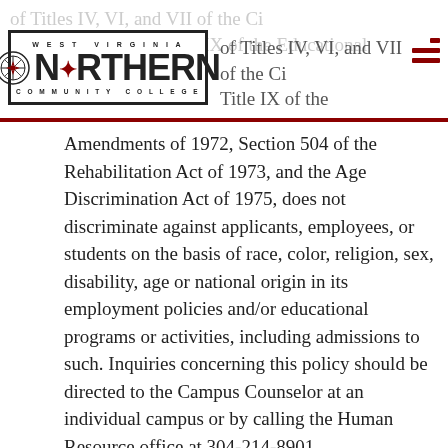West Virginia Northern Community College — of Titles IV, VI, and VII of the Civil Rights Act of 1964, Title IX of the Educational
Amendments of 1972, Section 504 of the Rehabilitation Act of 1973, and the Age Discrimination Act of 1975, does not discriminate against applicants, employees, or students on the basis of race, color, religion, sex, disability, age or national origin in its employment policies and/or educational programs or activities, including admissions to such. Inquiries concerning this policy should be directed to the Campus Counselor at an individual campus or by calling the Human Resource office at 304-214-8901.
2. The right to have any academic penalty reviewed.
3. The right to have access to a copy of the college catalog or program brochure in which current academic program requirements are described